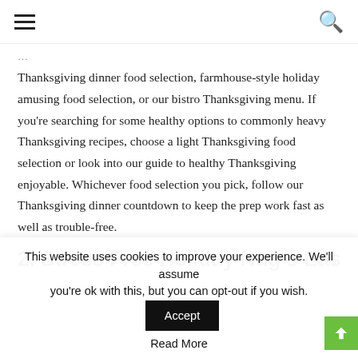☰  🔍
Thanksgiving dinner food selection, farmhouse-style holiday amusing food selection, or our bistro Thanksgiving menu. If you're searching for some healthy options to commonly heavy Thanksgiving recipes, choose a light Thanksgiving food selection or look into our guide to healthy Thanksgiving enjoyable. Whichever food selection you pick, follow our Thanksgiving dinner countdown to keep the prep work fast as well as trouble-free.
2. Stress Free Holiday Nug s Easy plate
This website uses cookies to improve your experience. We'll assume you're ok with this, but you can opt-out if you wish.
Read More